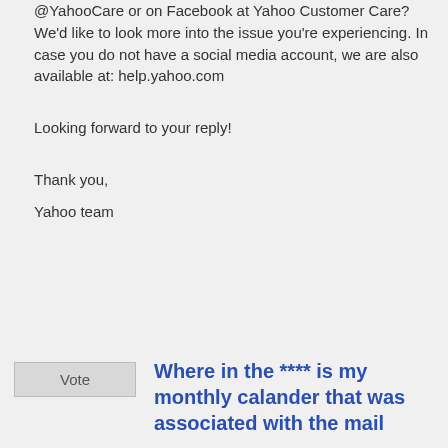@YahooCare or on Facebook at Yahoo Customer Care? We'd like to look more into the issue you're experiencing. In case you do not have a social media account, we are also available at: help.yahoo.com
Looking forward to your reply!
Thank you,
Yahoo team
Where in the **** is my monthly calander that was associated with the mail